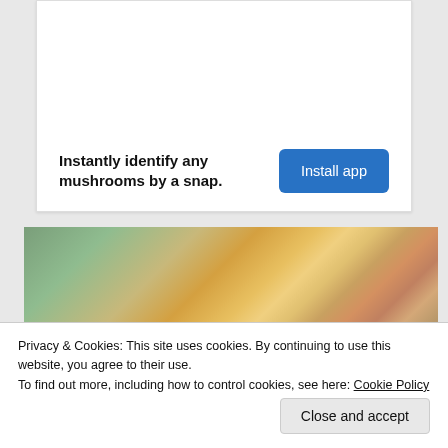Instantly identify any mushrooms by a snap.
Install app
[Figure (photo): Photo of a blonde woman in a yellow sweater looking downward, with green plants and shelving visible in the background]
Privacy & Cookies: This site uses cookies. By continuing to use this website, you agree to their use.
To find out more, including how to control cookies, see here: Cookie Policy
Close and accept